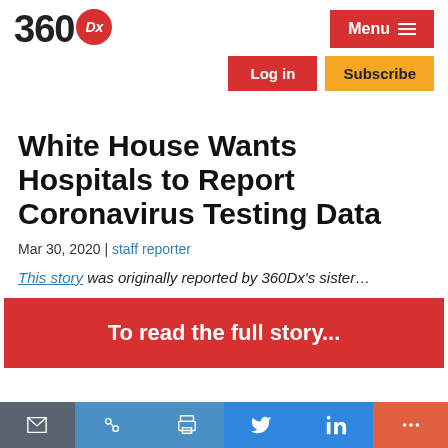360Dx — Menu | Log in | Subscribe
White House Wants Hospitals to Report Coronavirus Testing Data
Mar 30, 2020 | staff reporter
This story was originally reported by 360Dx's sister…
To read the full story...